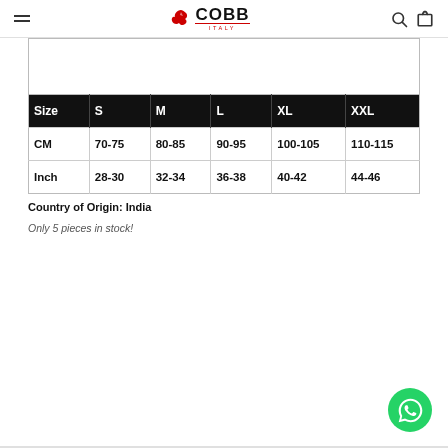COBB ITALY
| Size | S | M | L | XL | XXL |
| --- | --- | --- | --- | --- | --- |
| CM | 70-75 | 80-85 | 90-95 | 100-105 | 110-115 |
| Inch | 28-30 | 32-34 | 36-38 | 40-42 | 44-46 |
Country of Origin: India
Only 5 pieces in stock!